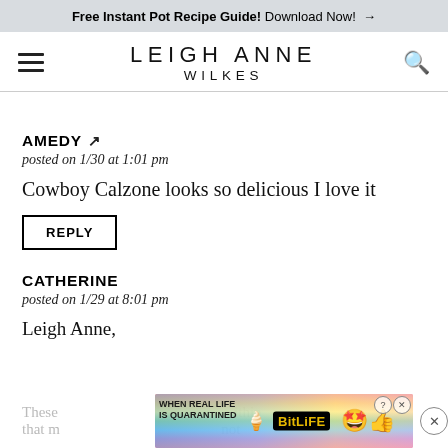Free Instant Pot Recipe Guide! Download Now! →
LEIGH ANNE WILKES
AMEDY ↗
posted on 1/30 at 1:01 pm
Cowboy Calzone looks so delicious I love it
REPLY
CATHERINE
posted on 1/29 at 8:01 pm
Leigh Anne,
These ... within that m... not
[Figure (other): BitLife advertisement banner with rainbow background and mascot emoji characters, showing 'WHEN REAL LIFE IS QUARANTINED' text and BitLife logo]